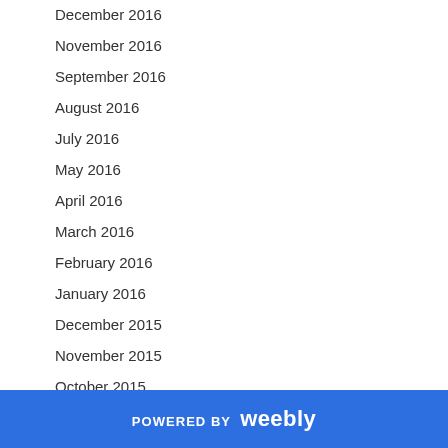December 2016
November 2016
September 2016
August 2016
July 2016
May 2016
April 2016
March 2016
February 2016
January 2016
December 2015
November 2015
October 2015
August 2015
July 2015
POWERED BY weebly